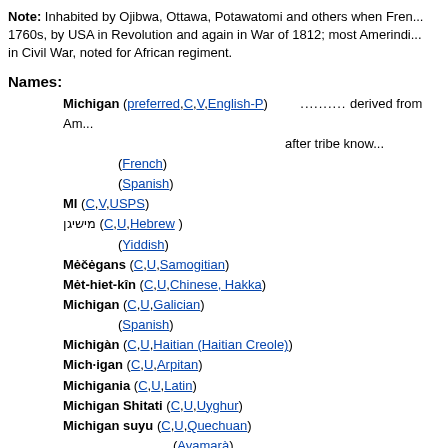Note: Inhabited by Ojibwa, Ottawa, Potawatomi and others when Fren... 1760s, by USA in Revolution and again in War of 1812; most Amerindi... in Civil War, noted for African regiment.
Names:
Michigan (preferred,C,V,English-P) .......... derived from Am... after tribe know...
(French)
(Spanish)
MI (C,V,USPS)
מישיגן (C,U,Hebrew) (Yiddish)
Mėčėgans (C,U,Samogitian)
Mėt-hiet-kîn (C,U,Chinese, Hakka)
Michigan (C,U,Galician) (Spanish)
Michigàn (C,U,Haitian (Haitian Creole))
Mich·igan (C,U,Arpitan)
Michigania (C,U,Latin)
Michigan Shitati (C,U,Uyghur)
Michigan suyu (C,U,Quechuan) (Ayamarà)
Michigão (C,U,Portuguese)
Mičigana (C,U,Latvian)
Mičiganas (C,U,Lithuanian)
Mičigano (C,U,Esperanto)